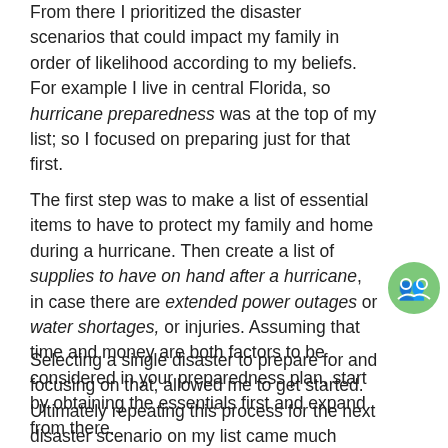From there I prioritized the disaster scenarios that could impact my family in order of likelihood according to my beliefs. For example I live in central Florida, so hurricane preparedness was at the top of my list; so I focused on preparing just for that first.
The first step was to make a list of essential items to have to protect my family and home during a hurricane. Then create a list of supplies to have on hand after a hurricane, in case there are extended power outages or water shortages, or injuries. Assuming that time and money are both factors to be considered in your preparedness plan, start by obtaining the essentials first and expand from there.
Selecting a single disaster to prepare for and focusing on that, allowed me to get started. Ultimately repeating this process for the next disaster scenario on my list came much more natural and the journey to become a